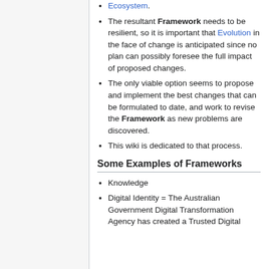Ecosystem.
The resultant Framework needs to be resilient, so it is important that Evolution in the face of change is anticipated since no plan can possibly foresee the full impact of proposed changes.
The only viable option seems to propose and implement the best changes that can be formulated to date, and work to revise the Framework as new problems are discovered.
This wiki is dedicated to that process.
Some Examples of Frameworks
Knowledge
Digital Identity = The Australian Government Digital Transformation Agency has created a Trusted Digital